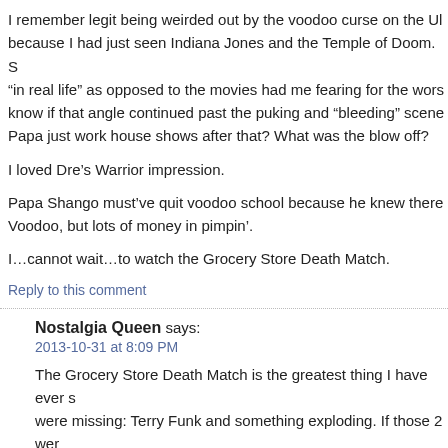I remember legit being weirded out by the voodoo curse on the Ul... because I had just seen Indiana Jones and the Temple of Doom. S... “in real life” as opposed to the movies had me fearing for the wors... know if that angle continued past the puking and “bleeding” scene... Papa just work house shows after that? What was the blow off?
I loved Dre’s Warrior impression.
Papa Shango must’ve quit voodoo school because he knew there... Voodoo, but lots of money in pimpin’.
I…cannot wait…to watch the Grocery Store Death Match.
Reply to this comment
Nostalgia Queen says:
2013-10-31 at 8:09 PM
The Grocery Store Death Match is the greatest thing I have ever s... were missing: Terry Funk and something exploding. If those 2 wer... would have be epic. EPIC!
Reply to this comment